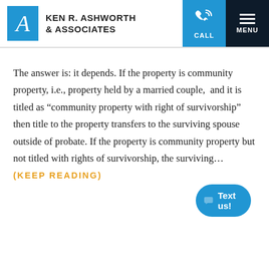KEN R. ASHWORTH & ASSOCIATES
The answer is: it depends. If the property is community property, i.e., property held by a married couple,  and it is titled as “community property with right of survivorship” then title to the property transfers to the surviving spouse outside of probate. If the property is community property but not titled with rights of survivorship, the surviving... (KEEP READING)